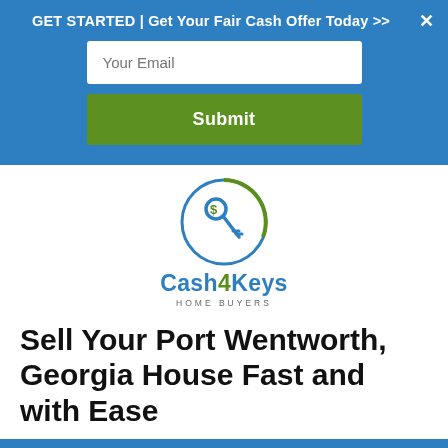GET STARTED | Get Your Fair Cash Offer Today >>
Your Email
Submit
[Figure (logo): Cash4Keys Home Buyers logo — circular icon with a key and dollar sign in blue and green, with company name below]
Sell Your Port Wentworth, Georgia House Fast and with Ease
Call Us! 912-325-9640